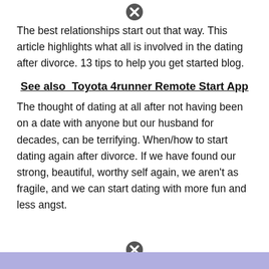[Figure (other): Close/cancel button icon (circle with X)]
The best relationships start out that way. This article highlights what all is involved in the dating after divorce. 13 tips to help you get started blog.
See also  Toyota 4runner Remote Start App
The thought of dating at all after not having been on a date with anyone but our husband for decades, can be terrifying. When/how to start dating again after divorce. If we have found our strong, beautiful, worthy self again, we aren't as fragile, and we can start dating with more fun and less angst.
[Figure (other): Close/cancel button icon (circle with X) at bottom, over a lavender banner bar]